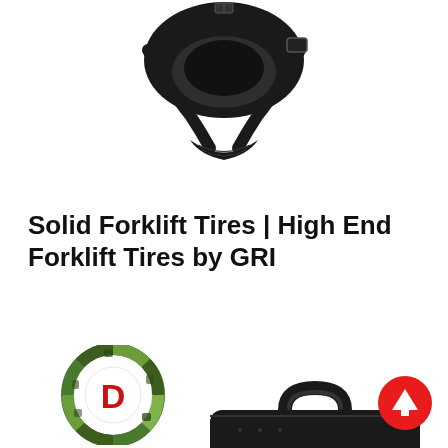[Figure (photo): Black tactical harness/mask product photographed from below on white background]
Solid Forklift Tires | High End Forklift Tires by GRI
[Figure (logo): DEEKON brand logo: circular camouflage-pattern ring with red D in center, red DEEKON text below]
[Figure (photo): Black padded carry case/bag handle detail, bottom of page]
[Figure (other): Red circular scroll-up button with white upward arrow, bottom right corner]